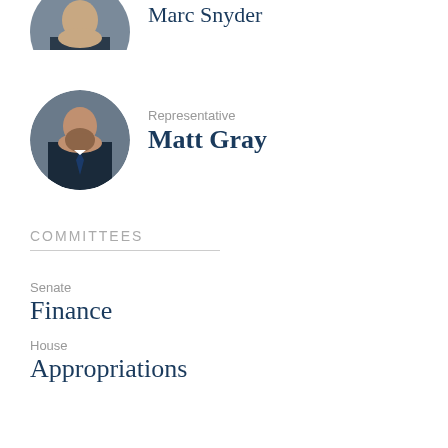[Figure (photo): Circular portrait photo of Marc Snyder, partially cropped at top of page]
Marc Snyder
[Figure (photo): Circular portrait photo of Representative Matt Gray, man with beard in dark suit]
Representative
Matt Gray
COMMITTEES
Senate
Finance
House
Appropriation